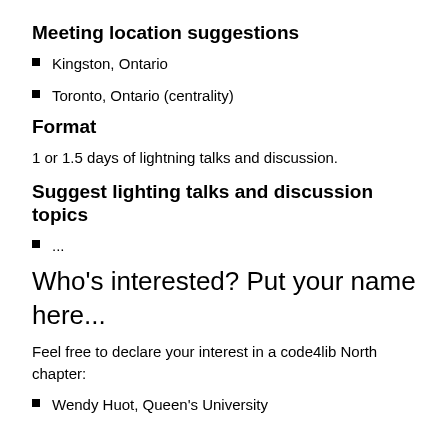Meeting location suggestions
Kingston, Ontario
Toronto, Ontario (centrality)
Format
1 or 1.5 days of lightning talks and discussion.
Suggest lighting talks and discussion topics
...
Who's interested? Put your name here...
Feel free to declare your interest in a code4lib North chapter:
Wendy Huot, Queen's University